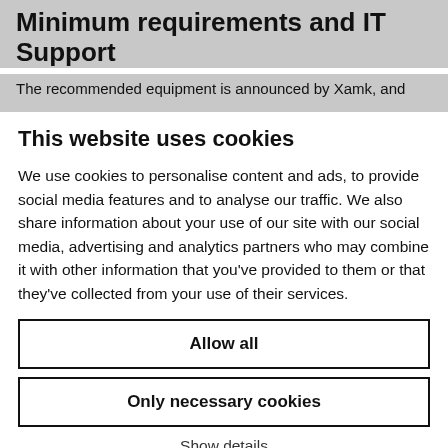Minimum requirements and IT Support
The recommended equipment is announced by Xamk, and
This website uses cookies
We use cookies to personalise content and ads, to provide social media features and to analyse our traffic. We also share information about your use of our site with our social media, advertising and analytics partners who may combine it with other information that you've provided to them or that they've collected from your use of their services.
Allow all
Only necessary cookies
Show details